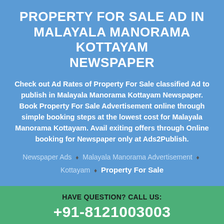PROPERTY FOR SALE AD IN MALAYALA MANORAMA KOTTAYAM NEWSPAPER
Check out Ad Rates of Property For Sale classified Ad to publish in Malayala Manorama Kottayam Newspaper. Book Property For Sale Advertisement online through simple booking steps at the lowest cost for Malayala Manorama Kottayam. Avail exiting offers through Online booking for Newspaper only at Ads2Publish.
Newspaper Ads ♦ Malayala Manorama Advertisement ♦ Kottayam ♦ Property For Sale
HAVE QUESTION? CALL US: +91-8121003003
EMAIL: customercare@ads2publish.com